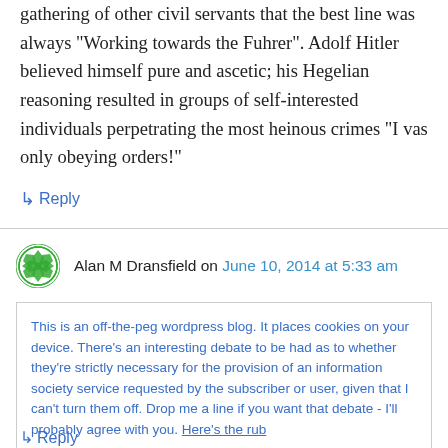gathering of other civil servants that the best line was always “Working towards the Fuhrer”. Adolf Hitler believed himself pure and ascetic; his Hegelian reasoning resulted in groups of self-interested individuals perpetrating the most heinous crimes “I vas only obeying orders!”
↳ Reply
Alan M Dransfield on June 10, 2014 at 5:33 am
This is an off-the-peg wordpress blog. It places cookies on your device. There’s an interesting debate to be had as to whether they’re strictly necessary for the provision of an information society service requested by the subscriber or user, given that I can’t turn them off. Drop me a line if you want that debate - I’ll probably agree with you. Here’s the rub
↳ Reply